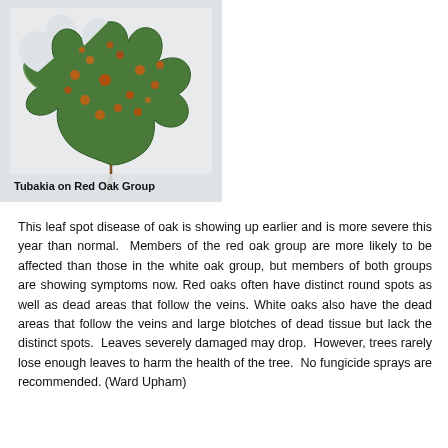[Figure (photo): Photo of an oak leaf showing Tubakia leaf spot disease with orange-red spots on a green leaf, held against a light background. Caption reads 'Tubakia on Red Oak Group'.]
Tubakia on Red Oak Group
This leaf spot disease of oak is showing up earlier and is more severe this year than normal.  Members of the red oak group are more likely to be affected than those in the white oak group, but members of both groups are showing symptoms now. Red oaks often have distinct round spots as well as dead areas that follow the veins. White oaks also have the dead areas that follow the veins and large blotches of dead tissue but lack the distinct spots.  Leaves severely damaged may drop.  However, trees rarely lose enough leaves to harm the health of the tree.  No fungicide sprays are recommended. (Ward Upham)